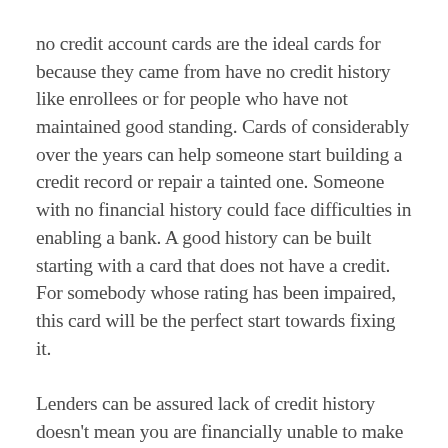no credit account cards are the ideal cards for because they came from have no credit history like enrollees or for people who have not maintained good standing. Cards of considerably over the years can help someone start building a credit record or repair a tainted one. Someone with no financial history could face difficulties in enabling a bank. A good history can be built starting with a card that does not have a credit. For somebody whose rating has been impaired, this card will be the perfect start towards fixing it.
Lenders can be assured lack of credit history doesn't mean you are financially unable to make regular transaction. It is definitely possible that a credit file because you never needed to avail credit until at